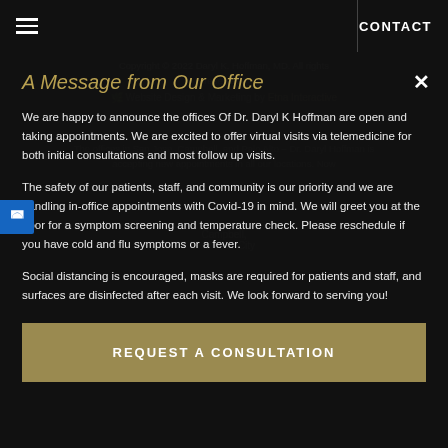CONTACT
Copyright © 2022 Daryl K. Hoffman, MD. All rights reserved.
Website Design & Marketing by Etna Interactive
A Message from Our Office
We are happy to announce the offices Of Dr. Daryl K Hoffman are open and taking appointments. We are excited to offer virtual visits via telemedicine for both initial consultations and most follow up visits.
The safety of our patients, staff, and community is our priority and we are handling in-office appointments with Covid-19 in mind. We will greet you at the door for a symptom screening and temperature check. Please reschedule if you have cold and flu symptoms or a fever.
Social distancing is encouraged, masks are required for patients and staff, and surfaces are disinfected after each visit. We look forward to serving you!
REQUEST A CONSULTATION